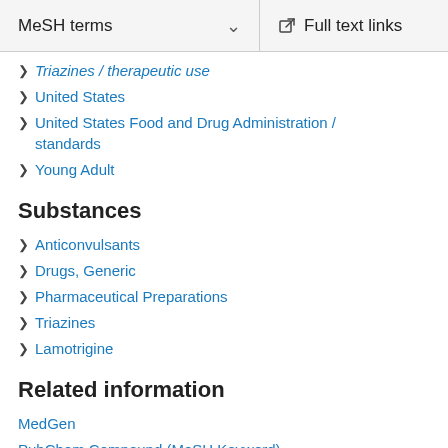MeSH terms   Full text links
Triazines / therapeutic use
United States
United States Food and Drug Administration / standards
Young Adult
Substances
Anticonvulsants
Drugs, Generic
Pharmaceutical Preparations
Triazines
Lamotrigine
Related information
MedGen
PubChem Compound (MeSH Keyword)